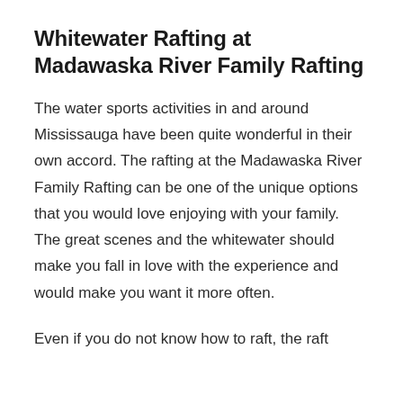Whitewater Rafting at Madawaska River Family Rafting
The water sports activities in and around Mississauga have been quite wonderful in their own accord. The rafting at the Madawaska River Family Rafting can be one of the unique options that you would love enjoying with your family. The great scenes and the whitewater should make you fall in love with the experience and would make you want it more often.
Even if you do not know how to raft, the raft